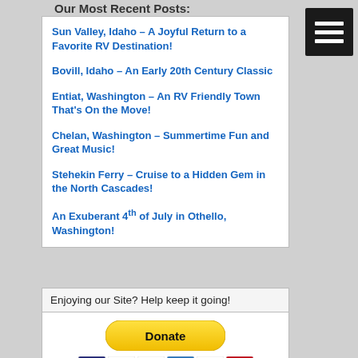Our Most Recent Posts:
Sun Valley, Idaho – A Joyful Return to a Favorite RV Destination!
Bovill, Idaho – An Early 20th Century Classic
Entiat, Washington – An RV Friendly Town That's On the Move!
Chelan, Washington – Summertime Fun and Great Music!
Stehekin Ferry – Cruise to a Hidden Gem in the North Cascades!
An Exuberant 4th of July in Othello, Washington!
Enjoying our Site? Help keep it going!
[Figure (other): PayPal donate button with credit card icons (Visa, Mastercard, Maestro, Amex, Discover, and one more)]